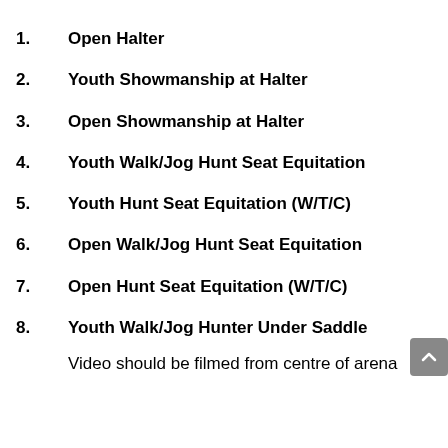1. Open Halter
2. Youth Showmanship at Halter
3. Open Showmanship at Halter
4. Youth Walk/Jog Hunt Seat Equitation
5. Youth Hunt Seat Equitation (W/T/C)
6. Open Walk/Jog Hunt Seat Equitation
7. Open Hunt Seat Equitation (W/T/C)
8. Youth Walk/Jog Hunter Under Saddle
Video should be filmed from centre of arena